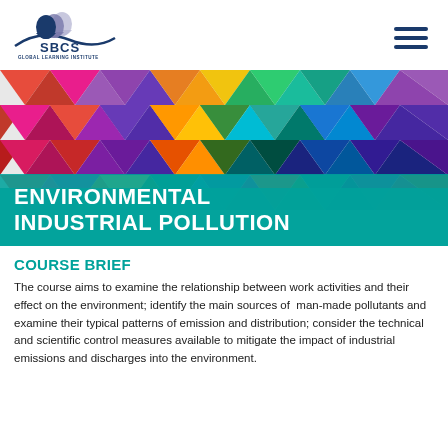[Figure (logo): SBCS Global Learning Institute logo with stylized head silhouettes and arc]
[Figure (illustration): Colorful geometric triangle mosaic banner background in various colors including red, pink, purple, teal, green, yellow, orange]
ENVIRONMENTAL INDUSTRIAL POLLUTION
COURSE BRIEF
The course aims to examine the relationship between work activities and their effect on the environment; identify the main sources of man-made pollutants and examine their typical patterns of emission and distribution; consider the technical and scientific control measures available to mitigate the impact of industrial emissions and discharges into the environment.